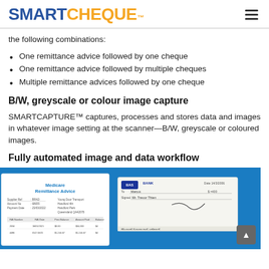SMARTCHEQUE™
the following combinations:
One remittance advice followed by one cheque
One remittance advice followed by multiple cheques
Multiple remittance advices followed by one cheque
B/W, greyscale or colour image capture
SMARTCAPTURE™ captures, processes and stores data and images in whatever image setting at the scanner—B/W, greyscale or coloured images.
Fully automated image and data workflow
[Figure (photo): Screenshot of a workflow showing a Medicare Remittance Advice document alongside a cheque image on a blue background, with a scroll-to-top button visible.]